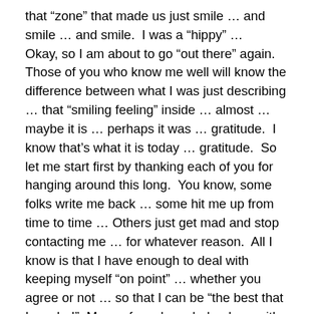that “zone” that made us just smile … and smile … and smile.  I was a “hippy” … Okay, so I am about to go “out there” again.  Those of you who know me well will know the difference between what I was just describing … that “smiling feeling” inside … almost … maybe it is … perhaps it was … gratitude.  I know that’s what it is today … gratitude.  So let me start first by thanking each of you for hanging around this long.  You know, some folks write me back … some hit me up from time to time … Others just get mad and stop contacting me … for whatever reason.  All I know is that I have enough to deal with keeping myself “on point” … whether you agree or not … so that I can be “the best that I can be!”  Many of you have helped me with that “challenge”, too … ‘cause it ain’t easy!!  Sometimes I feel like I want to “lose it”, too!  Then make a bunch of excuses